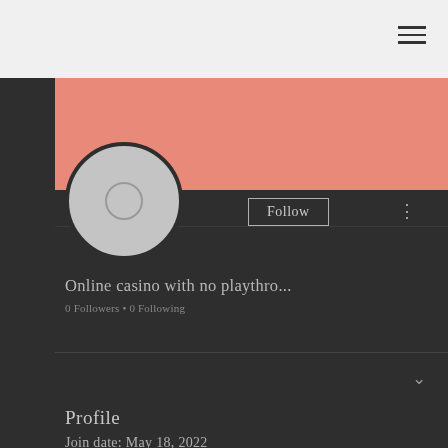[Figure (screenshot): Mobile app profile page screenshot showing hamburger menu in top-right, pink banner/cover image, circular avatar with grey background, Follow button with border, three-dot menu, username 'Online casino with no playthro...', follower count '0 Followers • 0 Following', a collapsed section with chevron, and Profile section with 'Join date: May 18, 2022']
Online casino with no playthro...
0 Followers • 0 Following
Profile
Join date: May 18, 2022